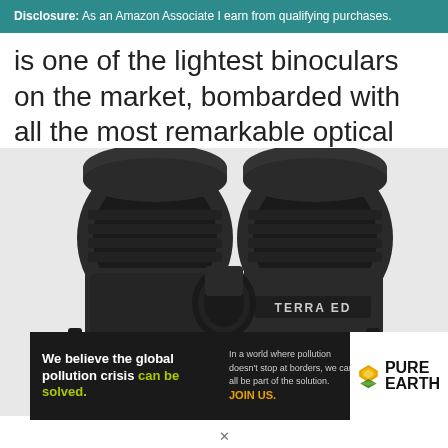Disclosure: As an Amazon Associate I earn from qualifying purchases.
is one of the lightest binoculars on the market, bombarded with all the most remarkable optical functions you can imagine.
[Figure (photo): Close-up photo of Zeiss Terra ED binoculars, black, showing the eyepieces and focus wheel with 'TERRA ED' text visible on the barrel.]
[Figure (infographic): Pure Earth advertisement banner: 'We believe the global pollution crisis can be solved.' with tagline 'In a world where pollution doesn't stop at borders, we can all be part of the solution. JOIN US.' and the Pure Earth diamond logo.]